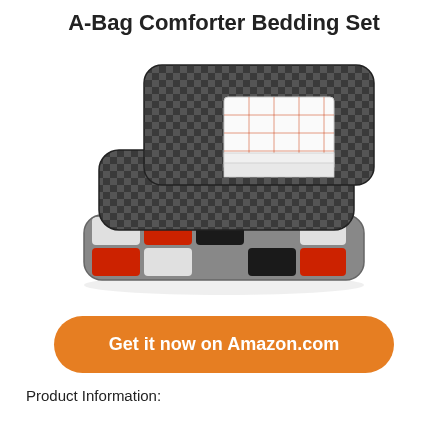A-Bag Comforter Bedding Set
[Figure (photo): A folded comforter bedding set displayed on a white background. The set includes a black and grey checkered pillow sham with white sheets folded on top, and a comforter folded below in a patchwork pattern of red, black, grey, and white blocks.]
Get it now on Amazon.com
Product Information: